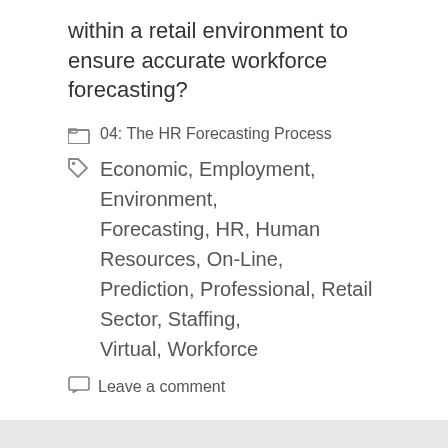within a retail environment to ensure accurate workforce forecasting?
04: The HR Forecasting Process
Economic, Employment, Environment, Forecasting, HR, Human Resources, On-Line, Prediction, Professional, Retail Sector, Staffing, Virtual, Workforce
Leave a comment
Search …